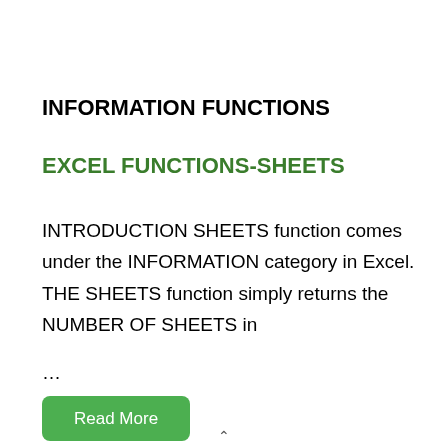INFORMATION FUNCTIONS
EXCEL FUNCTIONS-SHEETS
INTRODUCTION SHEETS function comes under the INFORMATION category in Excel. THE SHEETS function simply returns the NUMBER OF SHEETS in
...
Read More